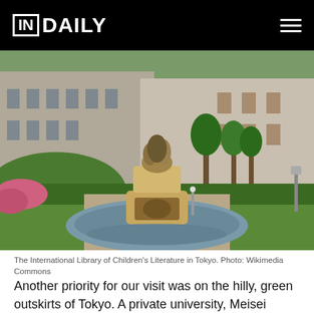IN DAILY
[Figure (photo): Outdoor fountain with a stone pedestal topped by a sculpture, surrounded by manicured green hedges, flowers, and a classical stone building in the background at the International Library of Children's Literature in Tokyo.]
The International Library of Children's Literature in Tokyo. Photo: Wikimedia Commons
Another priority for our visit was on the hilly, green outskirts of Tokyo. A private university, Meisei University is home to the world's second-largest collection of Shakespeare First Folios. (The Folger has by far the largest collection. The New York Public Library and the British